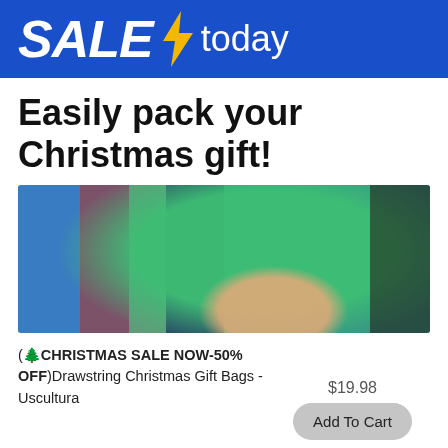[Figure (infographic): Blue banner with bold white italic text 'SALE', yellow lightning bolt icon, and white text 'today' on blue background]
Easily pack your Christmas gift!
[Figure (photo): Person wearing green sweater holding or packing gifts with colorful items visible in background]
(🌲 CHRISTMAS SALE NOW-50% OFF) Drawstring Christmas Gift Bags - Uscultura
$19.98
Add To Cart